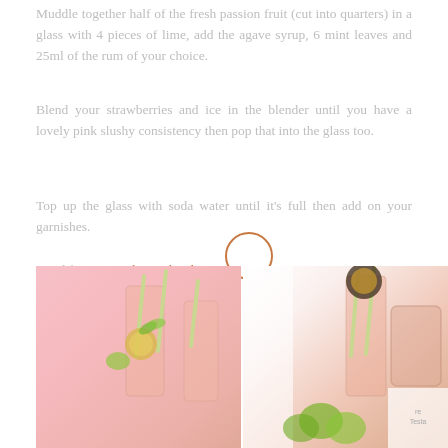Muddle together half of the fresh passion fruit (cut into quarters) in a glass with 4 pieces of lime, add the agave syrup, 6 mint leaves and 25ml of the rum of your choice.
Blend your strawberries and ice in the blender until you have a lovely pink slushy consistency then pop that into the glass too.
Top up the glass with soda water until it's full then add on your garnishes.
Cited from Bespoke Bride Blog
[Figure (photo): Two side-by-side photos of cocktail drinks garnished with passion fruit, lime, mint, and striped straws on a pink background.]